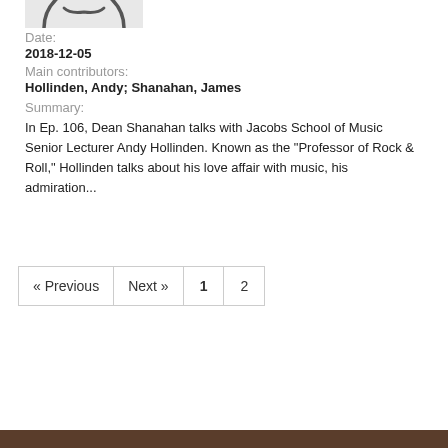[Figure (illustration): Partial circular smiley face / profile image thumbnail, bottom portion visible]
Date:
2018-12-05
Main contributors:
Hollinden, Andy; Shanahan, James
Summary:
In Ep. 106, Dean Shanahan talks with Jacobs School of Music Senior Lecturer Andy Hollinden. Known as the "Professor of Rock & Roll," Hollinden talks about his love affair with music, his admiration...
« Previous  Next »  1  2